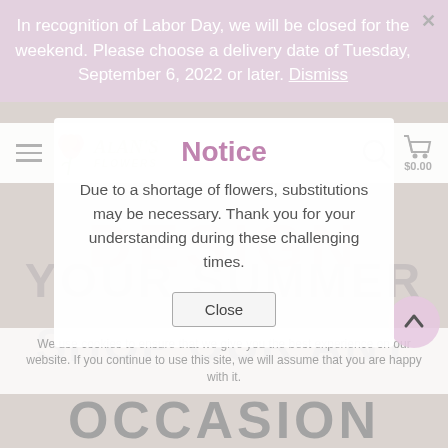In recognition of Labor Day, we will be closed for the weekend. Please choose a delivery date of Tuesday, September 6, 2022 or later. Dismiss
[Figure (screenshot): Alan's Flowers logo with rose icon and navigation bar including hamburger menu, search icon, and cart showing $0.00]
Notice
Due to a shortage of flowers, substitutions may be necessary. Thank you for your understanding during these challenging times.
DESIGN YOUR SUMMER
SHOP OUR ANY
We use cookies to ensure that we give you the best experience on our website. If you continue to use this site, we will assume that you are happy with it.
OCCASION